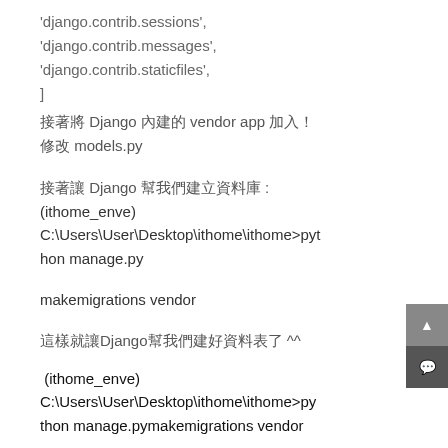'django.contrib.sessions',
'django.contrib.messages',
'django.contrib.staticfiles',
]
接著將 Django 內建的 vendor app 加入!
修改 models.py
接著讓 Django 幫我們建立資料庫 :
(ithome_enve)  C:\Users\User\Desktop\ithome\ithome>python manage.py
makemigrations vendor
這樣就讓Django幫我們建好資料表了 ^^
(ithome_enve) C:\Users\User\Desktop\ithome\ithome>python manage.pymakemigrations vendor